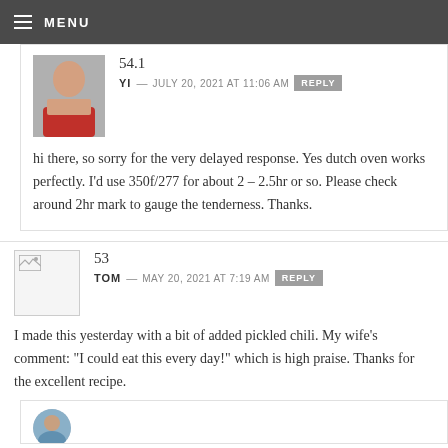MENU
54.1
YI — JULY 20, 2021 AT 11:06 AM   REPLY
hi there, so sorry for the very delayed response. Yes dutch oven works perfectly. I'd use 350f/277 for about 2 – 2.5hr or so. Please check around 2hr mark to gauge the tenderness. Thanks.
53
TOM — MAY 20, 2021 AT 7:19 AM   REPLY
I made this yesterday with a bit of added pickled chili. My wife's comment: "I could eat this every day!" which is high praise. Thanks for the excellent recipe.